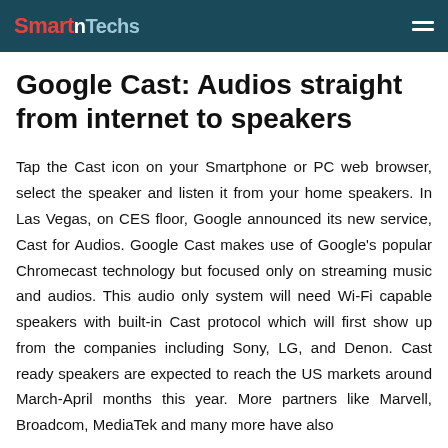SmartNTechs
Google Cast: Audios straight from internet to speakers
Tap the Cast icon on your Smartphone or PC web browser, select the speaker and listen it from your home speakers. In Las Vegas, on CES floor, Google announced its new service, Cast for Audios. Google Cast makes use of Google's popular Chromecast technology but focused only on streaming music and audios. This audio only system will need Wi-Fi capable speakers with built-in Cast protocol which will first show up from the companies including Sony, LG, and Denon. Cast ready speakers are expected to reach the US markets around March-April months this year. More partners like Marvell, Broadcom, MediaTek and many more have also joined Google for this project.